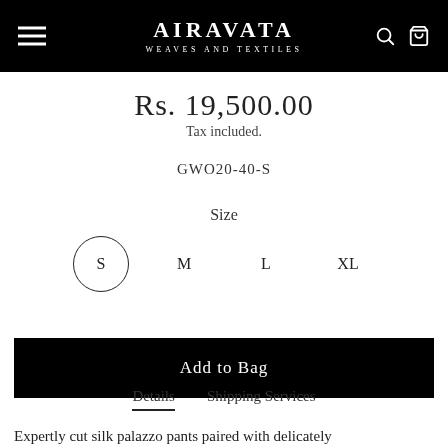AIRAVATA WEAVES AND TEXTILES
Rs. 19,500.00
Tax included.
GWO20-40-S
Size
S  M  L  XL
Add to Bag
Details  Shipping Services
Expertly cut silk palazzo pants paired with delicately